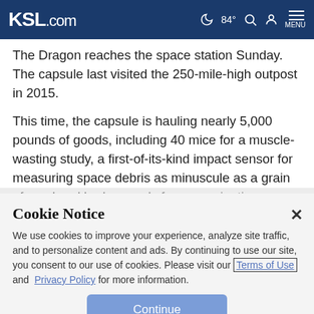KSL.com  84°  MENU
The Dragon reaches the space station Sunday. The capsule last visited the 250-mile-high outpost in 2015.
This time, the capsule is hauling nearly 5,000 pounds of goods, including 40 mice for a muscle-wasting study, a first-of-its-kind impact sensor for measuring space debris as minuscule as a grain of sand and barley seeds for a germination experiment by Budweiser, already angling to
Cookie Notice
We use cookies to improve your experience, analyze site traffic, and to personalize content and ads. By continuing to use our site, you consent to our use of cookies. Please visit our Terms of Use and  Privacy Policy for more information.
Continue